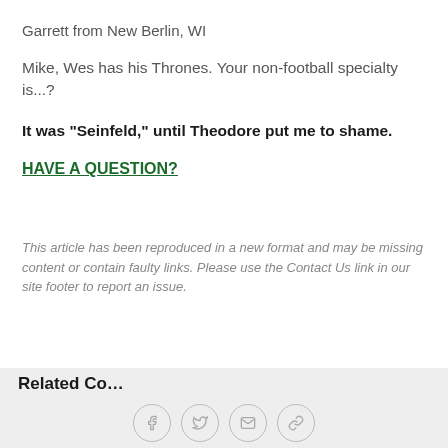Garrett from New Berlin, WI
Mike, Wes has his Thrones. Your non-football specialty is...?
It was "Seinfeld," until Theodore put me to shame.
HAVE A QUESTION?
This article has been reproduced in a new format and may be missing content or contain faulty links. Please use the Contact Us link in our site footer to report an issue.
Related Content